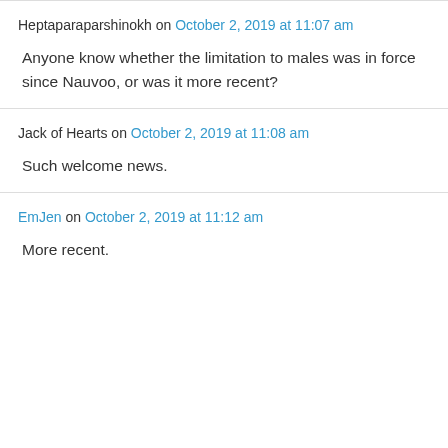Heptaparaparshinokh on October 2, 2019 at 11:07 am
Anyone know whether the limitation to males was in force since Nauvoo, or was it more recent?
Jack of Hearts on October 2, 2019 at 11:08 am
Such welcome news.
EmJen on October 2, 2019 at 11:12 am
More recent.